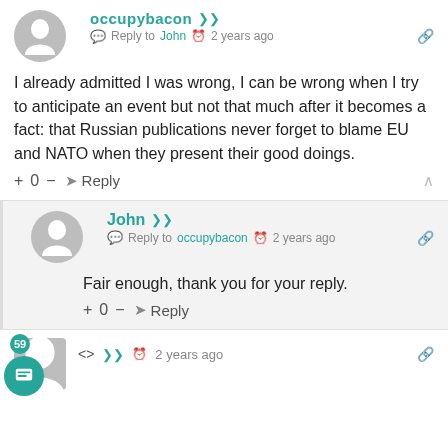occupybacon  Reply to John  2 years ago
I already admitted I was wrong, I can be wrong when I try to anticipate an event but not that much after it becomes a fact: that Russian publications never forget to blame EU and NATO when they present their good doings.
+ 0 — Reply
John  Reply to occupybacon  2 years ago
Fair enough, thank you for your reply.
+ 0 — Reply
<>  2 years ago